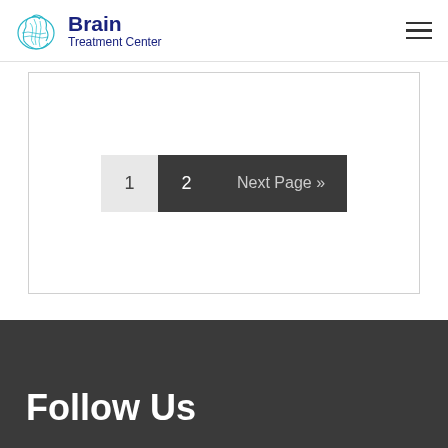[Figure (logo): Brain Treatment Center logo with teal brain icon and dark blue text]
1  2  Next Page »
Follow Us